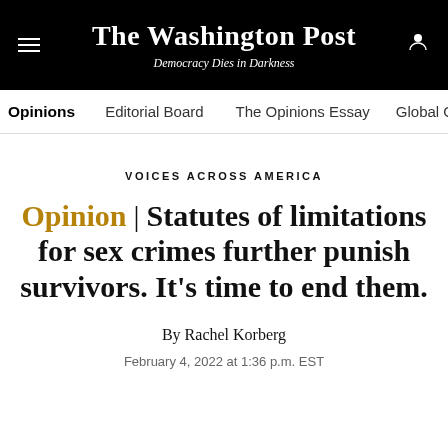The Washington Post — Democracy Dies in Darkness
VOICES ACROSS AMERICA
Opinion | Statutes of limitations for sex crimes further punish survivors. It's time to end them.
By Rachel Korberg
February 4, 2022 at 1:36 p.m. EST